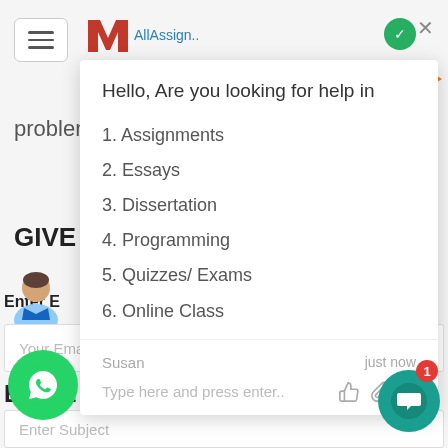[Figure (screenshot): Website header with hamburger menu button and AllAssignmentHelp logo partially visible]
problem
[Figure (screenshot): Chat popup overlay with greeting and numbered list of help topics]
Hello, Are you looking for help in
1. Assignments
2. Essays
3. Dissertation
4. Programming
5. Quizzes/ Exams
6. Online Class
Susan
just now
Type here and press enter..
Enter E
Your Email
E...oject
Enter Subject
[Figure (logo): WhatsApp icon button (green circle)]
[Figure (logo): Chat bubble button (teal circle) with red badge showing 1]